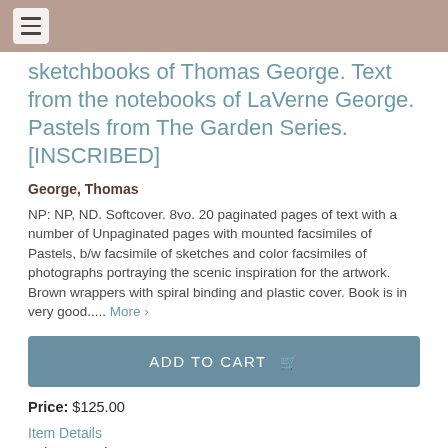☰
sketchbooks of Thomas George. Text from the notebooks of LaVerne George. Pastels from The Garden Series. [INSCRIBED]
George, Thomas
NP: NP, ND. Softcover. 8vo. 20 paginated pages of text with a number of Unpaginated pages with mounted facsimiles of Pastels, b/w facsimile of sketches and color facsimiles of photographs portraying the scenic inspiration for the artwork. Brown wrappers with spiral binding and plastic cover. Book is in very good..... More ›
ADD TO CART 🛒
Price: $125.00
Item Details
Ask a Question